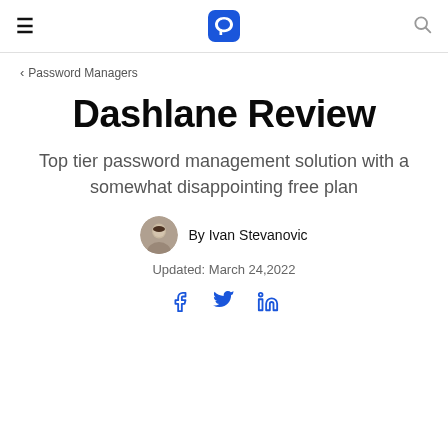Dashlane (logo) | menu | search
< Password Managers
Dashlane Review
Top tier password management solution with a somewhat disappointing free plan
By Ivan Stevanovic
Updated: March 24,2022
[Figure (illustration): Social media share icons: Facebook, Twitter, LinkedIn]